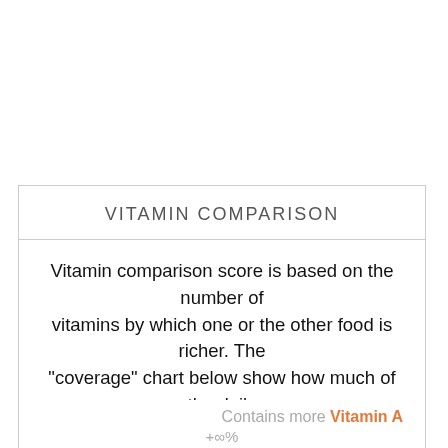VITAMIN COMPARISON
Vitamin comparison score is based on the number of vitamins by which one or the other food is richer. The "coverage" chart below show how much of the daily needs can be covered by 300 grams of the food
Crab stick 1 : 11 Rainbow trout
Contains more Vitamin A +∞%